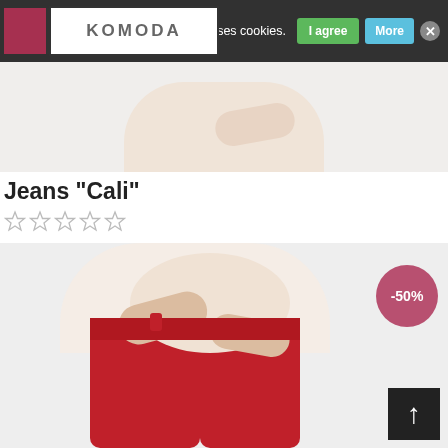Please note that this email the store uses cookies.  I agree  More  X
[Figure (screenshot): Komoda store logo with red sidebar thumbnail inside cookie consent banner]
[Figure (photo): Partial product image strip showing hands of a pregnant woman in a white top, cropped at torso level, visible above the product title]
Jeans "Cali"
☆☆☆☆☆ (star rating, no stars filled)
[Figure (photo): Pregnant woman wearing red maternity jeans and a white long-sleeve top, hands resting on belly. A -50% discount badge appears in the upper right. A dark scroll-to-top arrow button appears in the lower right.]